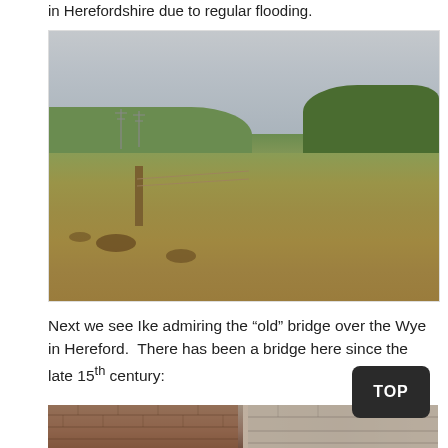in Herefordshire due to regular flooding.
[Figure (photo): A wide open field in Herefordshire with a flat grassy landscape, grey overcast sky, green agricultural land to the left, trees on the right horizon, power line towers in the background, a wooden fence post in the foreground, and dark soil patches on the dry grass.]
Next we see Ike admiring the “old” bridge over the Wye in Hereford. There has been a bridge here since the late 15th century:
[Figure (photo): A partial view of an old stone bridge over the River Wye in Hereford, showing brick and stone masonry walls.]